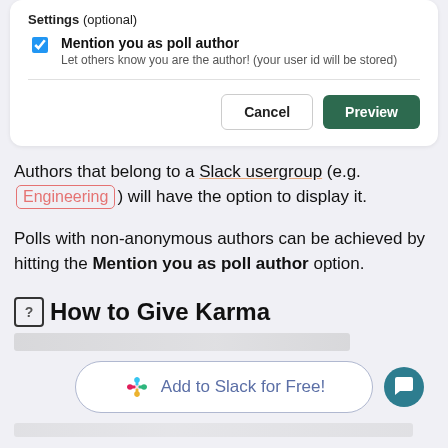Settings (optional)
Mention you as poll author
Let others know you are the author! (your user id will be stored)
Authors that belong to a Slack usergroup (e.g. Engineering) will have the option to display it.
Polls with non-anonymous authors can be achieved by hitting the Mention you as poll author option.
How to Give Karma
[Figure (screenshot): Add to Slack for Free button with Slack logo and a teal chat bubble button]